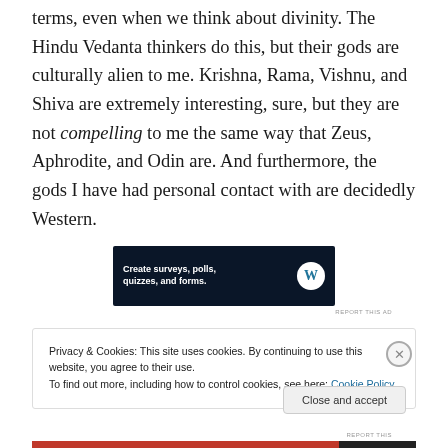terms, even when we think about divinity. The Hindu Vedanta thinkers do this, but their gods are culturally alien to me. Krishna, Rama, Vishnu, and Shiva are extremely interesting, sure, but they are not compelling to me the same way that Zeus, Aphrodite, and Odin are. And furthermore, the gods I have had personal contact with are decidedly Western.
[Figure (screenshot): WordPress advertisement banner: dark navy background with text 'Create surveys, polls, quizzes, and forms.' and WordPress logo circle on right, with a small badge.]
REPORT THIS AD
Privacy & Cookies: This site uses cookies. By continuing to use this website, you agree to their use.
To find out more, including how to control cookies, see here: Cookie Policy
Close and accept